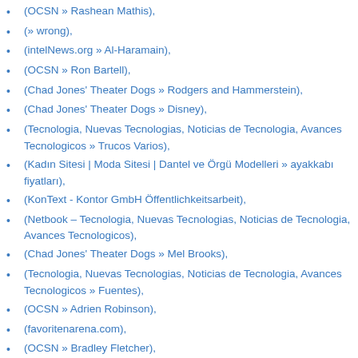(OCSN » Rashean Mathis),
(» wrong),
(intelNews.org » Al-Haramain),
(OCSN » Ron Bartell),
(Chad Jones' Theater Dogs » Rodgers and Hammerstein),
(Chad Jones' Theater Dogs » Disney),
(Tecnologia, Nuevas Tecnologias, Noticias de Tecnologia, Avances Tecnologicos » Trucos Varios),
(Kadın Sitesi | Moda Sitesi | Dantel ve Örgü Modelleri » ayakkabı fiyatları),
(KonText - Kontor GmbH Öffentlichkeitsarbeit),
(Netbook – Tecnologia, Nuevas Tecnologias, Noticias de Tecnologia, Avances Tecnologicos),
(Chad Jones' Theater Dogs » Mel Brooks),
(Tecnologia, Nuevas Tecnologias, Noticias de Tecnologia, Avances Tecnologicos » Fuentes),
(OCSN » Adrien Robinson),
(favoritenarena.com),
(OCSN » Bradley Fletcher),
(internet – Seite 6 – katias blog),